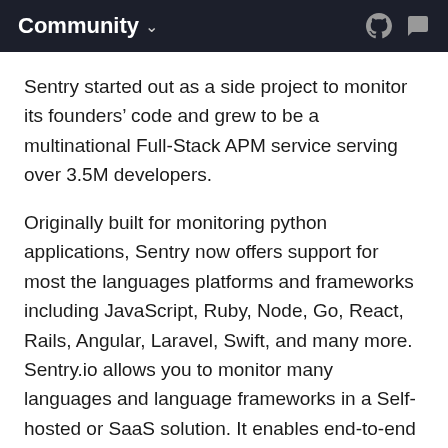Community
Sentry started out as a side project to monitor its founders' code and grew to be a multinational Full-Stack APM service serving over 3.5M developers.
Originally built for monitoring python applications, Sentry now offers support for most the languages platforms and frameworks including JavaScript, Ruby, Node, Go, React, Rails, Angular, Laravel, Swift, and many more. Sentry.io allows you to monitor many languages and language frameworks in a Self-hosted or SaaS solution. It enables end-to-end distributed tracing and allows you to see exact, poor-performing API calls and discover related errors. Sentry's Breadcrumbs collecting allows you to monitor trails of events that lead to errors. Version changes allow you